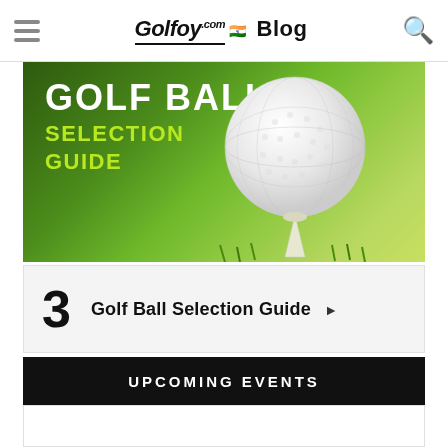Golfoy.com Blog
[Figure (illustration): Golf Ball Selection Guide banner image showing a white golf ball on a tee against a green background with text 'GOLF BALL SELECTION GUIDE']
3  Golf Ball Selection Guide ▶
UPCOMING EVENTS